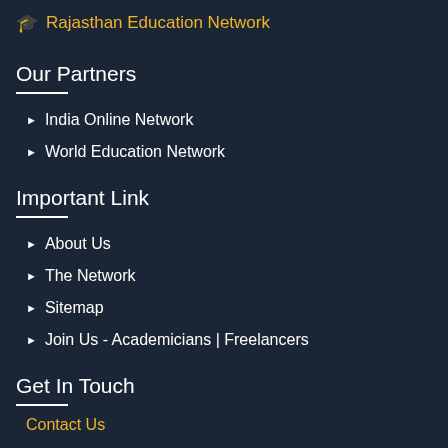🎓 Rajasthan Education Network
Our Partners
India Online Network
World Education Network
Important Link
About Us
The Network
Sitemap
Join Us - Academicians | Freelancers
Get In Touch
Contact Us